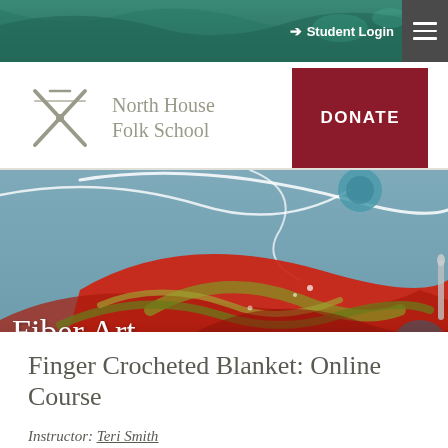Student Login
[Figure (logo): North House Folk School logo with crossed needles/tools icon and text]
[Figure (photo): Colorful Rosemaling decorative painting (Norwegian folk art) with red, green, gold swirling floral patterns on blue-grey background]
Fiber Art
Finger Crocheted Blanket: Online Course
Instructor: Teri Smith